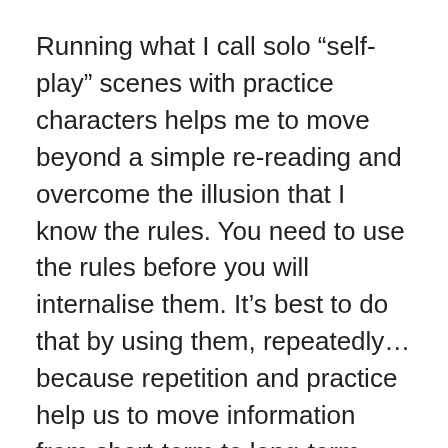Running what I call solo “self-play” scenes with practice characters helps me to move beyond a simple re-reading and overcome the illusion that I know the rules. You need to use the rules before you will internalise them. It’s best to do that by using them, repeatedly… because repetition and practice help us to move information from short-term to long-term memory.
But at the very least, we should all be re-reading the books from time to time. Notice what you’d overlooked or forgotten. Make a note to revisit those details of the rules in play. Set up some